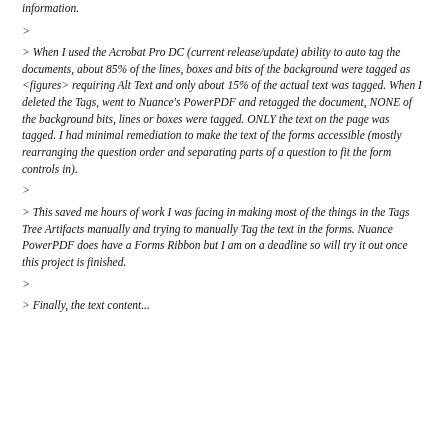information.
>
> When I used the Acrobat Pro DC (current release/update) ability to auto tag the documents, about 85% of the lines, boxes and bits of the background were tagged as <figures> requiring Alt Text and only about 15% of the actual text was tagged. When I deleted the Tags, went to Nuance's PowerPDF and retagged the document, NONE of the background bits, lines or boxes were tagged. ONLY the text on the page was tagged. I had minimal remediation to make the text of the forms accessible (mostly rearranging the question order and separating parts of a question to fit the form controls in).
>
> This saved me hours of work I was facing in making most of the things in the Tags Tree Artifacts manually and trying to manually Tag the text in the forms. Nuance PowerPDF does have a Forms Ribbon but I am on a deadline so will try it out once this project is finished.
>
> Finally, the text content...